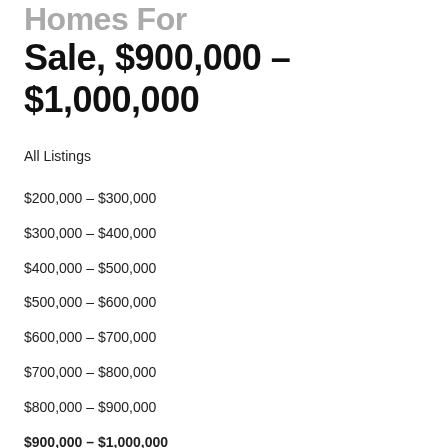Homes For Sale, $900,000 – $1,000,000
All Listings
$200,000 – $300,000
$300,000 – $400,000
$400,000 – $500,000
$500,000 – $600,000
$600,000 – $700,000
$700,000 – $800,000
$800,000 – $900,000
$900,000 – $1,000,000